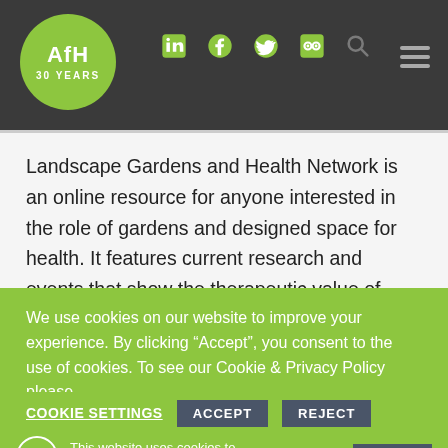[Figure (logo): AfH 30 Years green circular logo on dark header with social media icons (LinkedIn, Facebook, Twitter, Slideshare) and search icon, plus hamburger menu]
Landscape Gardens and Health Network is an online resource for anyone interested in the role of gardens and designed space for health. It features current research and events that show the therapeutic value of gardens and green space. Landscape is taken in its broadest sense, embracing the natural and designed
We use cookies on our website to improve your experience. By clicking “Accept”, you consent to the use of cookies. To see our Cookie & Privacy Policy please READ MORE
COOKIE SETTINGS ACCEPT REJECT
This website uses cookies to improve your experience. We’ll ACCEPT